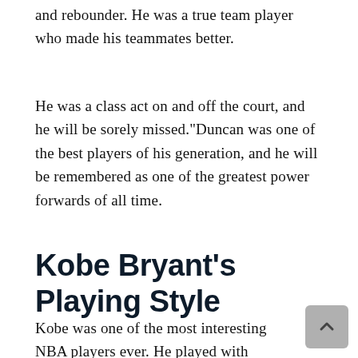and rebounder. He was a true team player who made his teammates better.
He was a class act on and off the court, and he will be sorely missed."Duncan was one of the best players of his generation, and he will be remembered as one of the greatest power forwards of all time.
Kobe Bryant's Playing Style
Kobe was one of the most interesting NBA players ever. He played with just the right